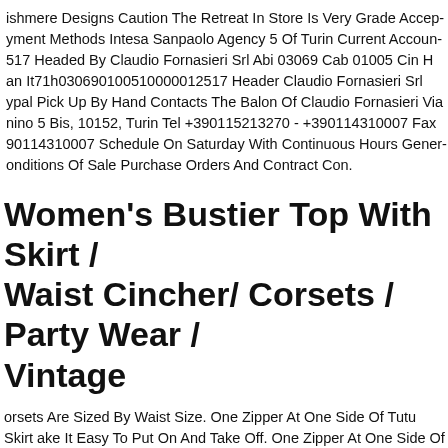ishmere Designs Caution The Retreat In Store Is Very Grade Accep... yment Methods Intesa Sanpaolo Agency 5 Of Turin Current Accoun... 517 Headed By Claudio Fornasieri Srl Abi 03069 Cab 01005 Cin H an It71h030690100510000012517 Header Claudio Fornasieri Srl ypal Pick Up By Hand Contacts The Balon Of Claudio Fornasieri Via nino 5 Bis, 10152, Turin Tel +390115213270 - +390114310007 Fax 90114310007 Schedule On Saturday With Continuous Hours Gener onditions Of Sale Purchase Orders And Contract Con.
Women's Bustier Top With Skirt / Waist Cincher/ Corsets / Party Wear / Vintage
orsets Are Sized By Waist Size. One Zipper At At One Side Of Tutu Skirt ake It Easy To Put On And Take Off. One Zipper At One Side Of Tutu irt, Make It Easy To Put On And Take Off. We Does Not Keep An ventory Of Leather Jackets.
nusual Vintage Pottery Blue Jug (wine Milk Cream Oil), Rare Unusu...